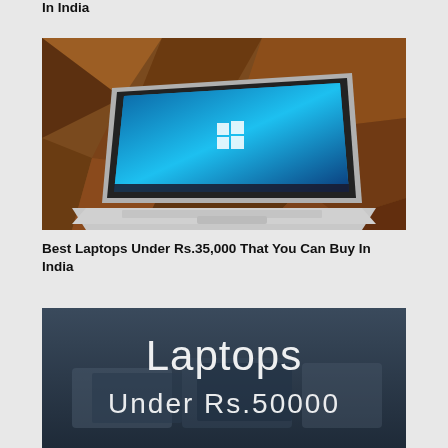In India
[Figure (photo): Microsoft Surface laptop with Windows 10 on screen, set against a dark orange geometric polygon background]
Best Laptops Under Rs.35,000 That You Can Buy In India
[Figure (photo): Dark blue/grey blurred background with white text reading 'Laptops Under Rs.50000']